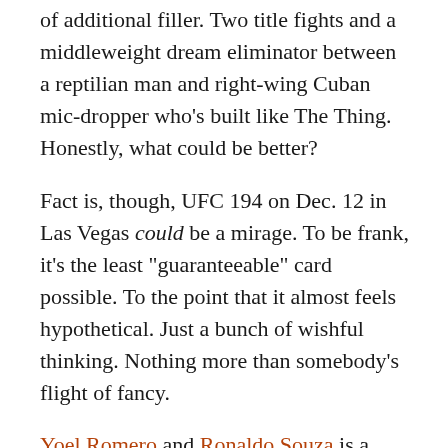of additional filler. Two title fights and a middleweight dream eliminator between a reptilian man and right-wing Cuban mic-dropper who's built like The Thing. Honestly, what could be better?
Fact is, though, UFC 194 on Dec. 12 in Las Vegas could be a mirage. To be frank, it's the least "guaranteeable" card possible. To the point that it almost feels hypothetical. Just a bunch of wishful thinking. Nothing more than somebody's flight of fancy.
Yoel Romero and Ronaldo Souza is a fantastic match-up with so many ridiculous technical variables that it feels almost too good to be true. And so far it has been. That fight has been booked twice before to high-fives and shouts only to fall apart both times. After an unprecedented World Tour, Conor McGregor and Jose Aldo was the fight of the summer